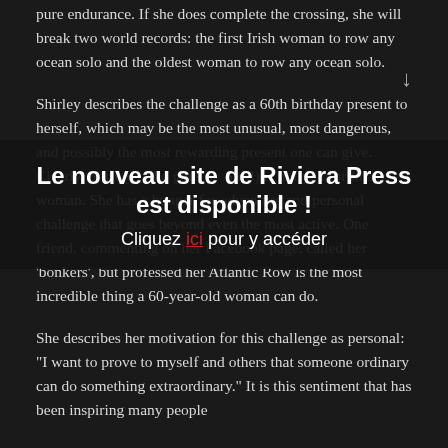pure endurance. If she does complete the crossing, she will break two world records: the first Irish woman to row any ocean solo and the oldest woman to row any ocean solo.
Shirley describes the challenge as a 60th birthday present to herself, which may be the most unusual, most dangerous, and possibly the most rewarding present one can give. Clearly, Shirley (who goes by Shirl) is not your ordinary woman. She has a hunger for adventure and personal challenge that goes beyond even the most active. One friend, commenting on her Facebook page, called her 'bonkers', but professed her Atlantic Row is the most incredible thing a 60-year-old woman can do.
Le nouveau site de Riviera Press est disponible !
Cliquez ici pour y accéder
She describes her motivation for this challenge as personal: "I want to prove to myself and others that someone ordinary can do something extraordinary." It is this sentiment that has been inspiring many people